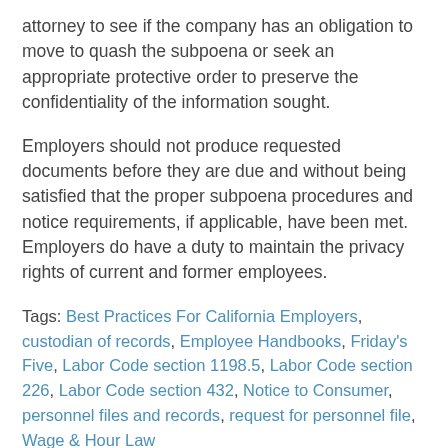attorney to see if the company has an obligation to move to quash the subpoena or seek an appropriate protective order to preserve the confidentiality of the information sought.
Employers should not produce requested documents before they are due and without being satisfied that the proper subpoena procedures and notice requirements, if applicable, have been met. Employers do have a duty to maintain the privacy rights of current and former employees.
Tags: Best Practices For California Employers, custodian of records, Employee Handbooks, Friday's Five, Labor Code section 1198.5, Labor Code section 226, Labor Code section 432, Notice to Consumer, personnel files and records, request for personnel file, Wage & Hour Law
[Figure (infographic): Social sharing icons: print, email, Twitter, Facebook, LinkedIn]